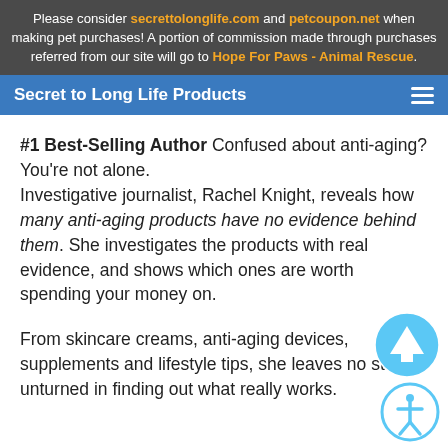Please consider secrettolonglife.com and petcoupon.net when making pet purchases! A portion of commission made through purchases referred from our site will go to Hope For Paws - Animal Rescue.
Secret to Long Life Products
#1 Best-Selling Author Confused about anti-aging? You're not alone. Investigative journalist, Rachel Knight, reveals how many anti-aging products have no evidence behind them. She investigates the products with real evidence, and shows which ones are worth spending your money on.
From skincare creams, anti-aging devices, supplements and lifestyle tips, she leaves no stone unturned in finding out what really works.